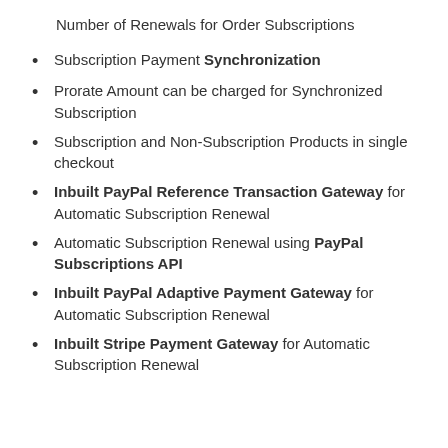Number of Renewals for Order Subscriptions
Subscription Payment Synchronization
Prorate Amount can be charged for Synchronized Subscription
Subscription and Non-Subscription Products in single checkout
Inbuilt PayPal Reference Transaction Gateway for Automatic Subscription Renewal
Automatic Subscription Renewal using PayPal Subscriptions API
Inbuilt PayPal Adaptive Payment Gateway for Automatic Subscription Renewal
Inbuilt Stripe Payment Gateway for Automatic Subscription Renewal